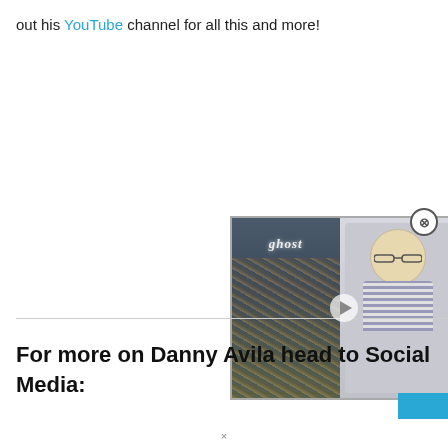out his YouTube channel for all this and more!
[Figure (screenshot): Embedded video widget showing a person reviewing a Ghost album, with a close button (×) in the top-right corner and a play button overlay.]
For more on Danny Avila head to Social Media: